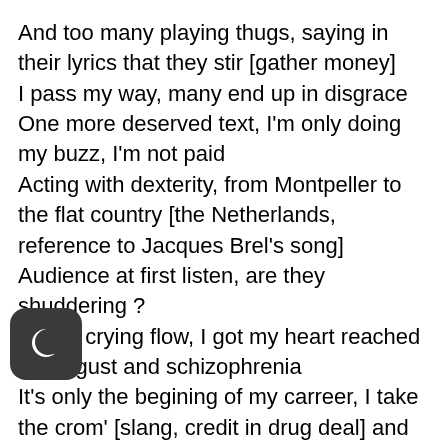And too many playing thugs, saying in their lyrics that they stir [gather money]
I pass my way, many end up in disgrace
One more deserved text, I'm only doing my buzz, I'm not paid
Acting with dexterity, from Montpeller to the flat country [the Netherlands, reference to Jacques Brel's song]
Audience at first listen, are they shuddering ?
I got a crying flow, I got my heart reached by disgust and schizophrenia
It's only the begining of my carreer, I take the crom' [slang, credit in drug deal] and forge gold
And obviously my brothers deny in front of the [pr]ecutor or the officers
No cocain in my nostrils, I kick
I'm not doing my vocalizaations, calibrated glow